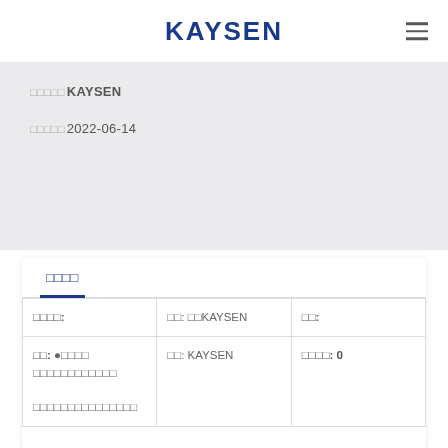KAYSEN
□□□□□KAYSEN
□□□□□2022-06-14
□□□□
| □□□□: | □□: □□KAYSEN | □□: |
| --- | --- | --- |
| □□: ●□□□□ □□□□□□□□□□□□□□□□□□□□□□□□□ | □□: KAYSEN | □□□□: 0 |